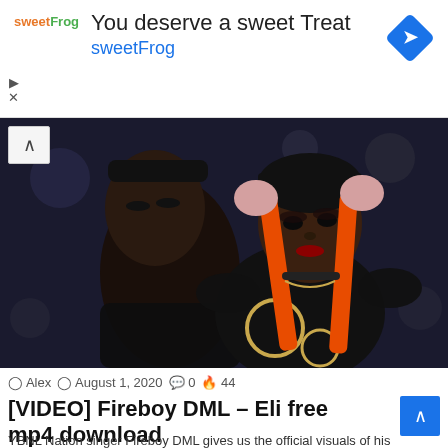[Figure (infographic): Advertisement banner for sweetFrog with text 'You deserve a sweet Treat' and 'sweetFrog' in blue, with sweetFrog logo and a blue diamond navigation icon on the right.]
[Figure (photo): Music video still showing two people wearing black outfits; one figure in the background and a young woman in the foreground with orange ribbon accessories in her hair.]
Alex  August 1, 2020  0  44
[VIDEO] Fireboy DML – Eli free mp4 download
YBNL Nation singer Fireboy DML gives us the official visuals of his